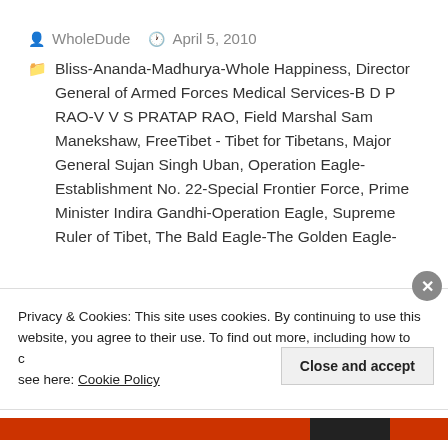WholeDude   April 5, 2010
Bliss-Ananda-Madhurya-Whole Happiness, Director General of Armed Forces Medical Services-B D P RAO-V V S PRATAP RAO, Field Marshal Sam Manekshaw, FreeTibet - Tibet for Tibetans, Major General Sujan Singh Uban, Operation Eagle-Establishment No. 22-Special Frontier Force, Prime Minister Indira Gandhi-Operation Eagle, Supreme Ruler of Tibet, The Bald Eagle-The Golden Eagle-
Privacy & Cookies: This site uses cookies. By continuing to use this website, you agree to their use. To find out more, including how to control cookies, see here: Cookie Policy
Close and accept